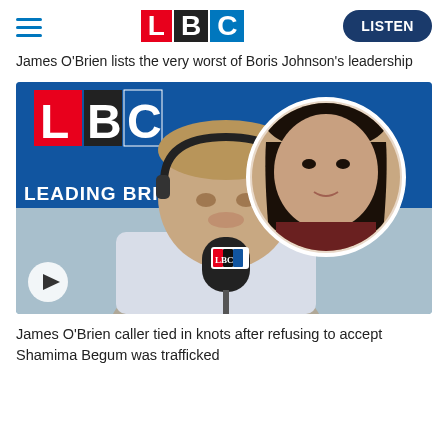LBC — LISTEN
James O'Brien lists the very worst of Boris Johnson's leadership
[Figure (photo): James O'Brien sitting at a radio microphone in an LBC studio with headphones on, serious expression. A circular inset photo shows Shamima Begum. The LBC logo is visible on the microphone. A play button is shown in the bottom-left corner of the image.]
James O'Brien caller tied in knots after refusing to accept Shamima Begum was trafficked